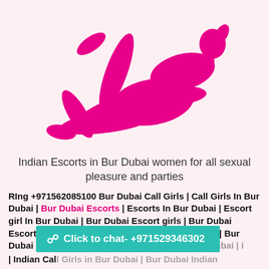[Figure (illustration): Pink silhouette of a reclining woman on a light pink background]
Indian Escorts in Bur Dubai women for all sexual pleasure and parties
RIng +971562085100 Bur Dubai Call Girls | Call Girls In Bur Dubai | Bur Dubai Escorts | Escorts In Bur Dubai | Escort girl In Bur Dubai | Bur Dubai Escort girls | Bur Dubai Escort girls service | Escort service In Bur Dubai | Bur Dubai call girl service | Call girl service In Bur Dubai | Indian Call Girls in Bur Dubai | Bur Dubai Indian
Click to chat- +971529346302